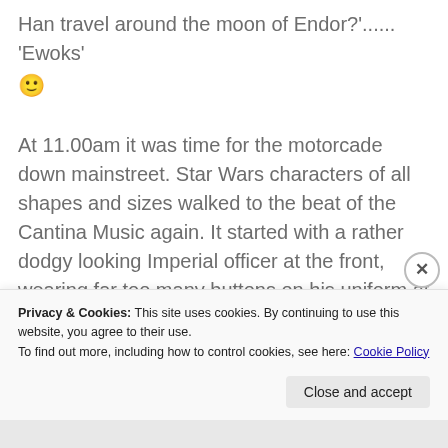Han travel around the moon of Endor?'...... 'Ewoks' 🙂

At 11.00am it was time for the motorcade down mainstreet. Star Wars characters of all shapes and sizes walked to the beat of the Cantina Music again. It started with a rather dodgy looking Imperial officer at the front, wearing far too many buttons on his uniform at the time before the critical costuming eyes, this guy looked like an imperial officer. The hat was right but the belt was off and he had too many buttons. It does remind me of a cross
Privacy & Cookies: This site uses cookies. By continuing to use this website, you agree to their use.
To find out more, including how to control cookies, see here: Cookie Policy
Close and accept